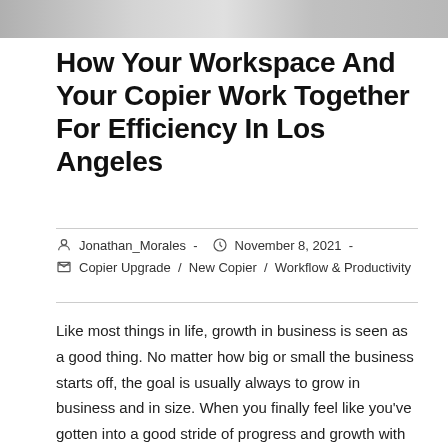[Figure (photo): Cropped photo strip showing a workspace/office environment with a copier or office equipment, partially visible at the top of the page]
How Your Workspace And Your Copier Work Together For Efficiency In Los Angeles
Jonathan_Morales  -  November 8, 2021  -
Copier Upgrade  /  New Copier  /  Workflow & Productivity
Like most things in life, growth in business is seen as a good thing. No matter how big or small the business starts off, the goal is usually always to grow in business and in size. When you finally feel like you've gotten into a good stride of progress and growth with your business, it becomes essential to keep developing that growth. While there's so many things that could go wrong at any moment, there are also many things that can